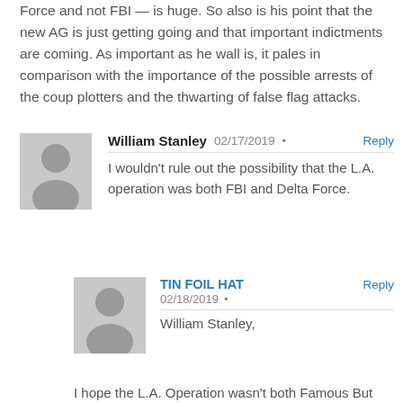Force and not FBI — is huge. So also is his point that the new AG is just getting going and that important indictments are coming. As important as he wall is, it pales in comparison with the importance of the possible arrests of the coup plotters and the thwarting of false flag attacks.
William Stanley  02/17/2019 • Reply
I wouldn't rule out the possibility that the L.A. operation was both FBI and Delta Force.
TIN FOIL HAT  Reply
02/18/2019 •
William Stanley,
I hope the L.A. Operation wasn't both Famous But Incompetent and Delta Force.
https://www.youtube.com/watch?v=YfR9P6pylaI